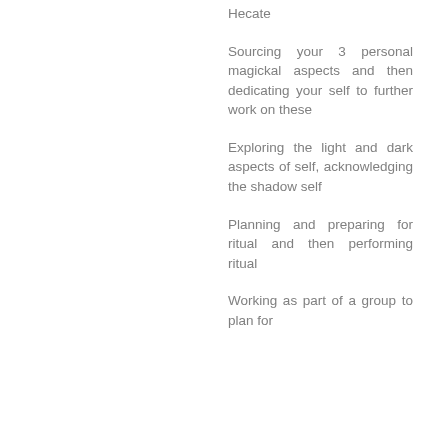Hecate
Sourcing your 3 personal magickal aspects and then dedicating your self to further work on these
Exploring the light and dark aspects of self, acknowledging the shadow self
Planning and preparing for ritual and then performing ritual
Working as part of a group to plan for